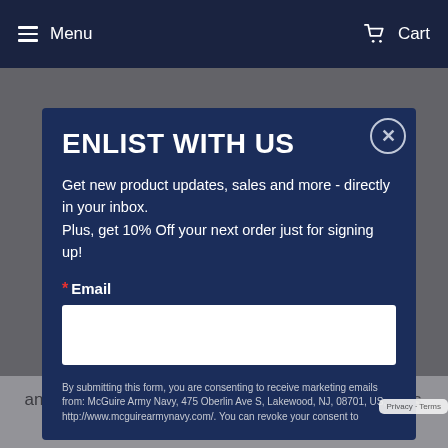Menu   Cart
ENLIST WITH US
Get new product updates, sales and more - directly in your inbox.
Plus, get 10% Off your next order just for signing up!
* Email
By submitting this form, you are consenting to receive marketing emails from: McGuire Army Navy, 475 Oberlin Ave S, Lakewood, NJ, 08701, US, http://www.mcguirearmynavy.com/. You can revoke your consent to
and clothing available, at the best price possible. this without compromising on our commitment to